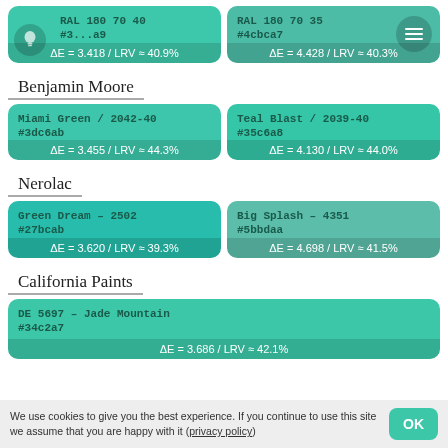RAL 180 70 40 #3...a9 ΔE = 3.418 / LRV ≈ 40.9%
RAL 180 70 35 #4cbca7 ΔE = 4.428 / LRV ≈ 40.3%
Benjamin Moore
Miami Green / 2042-40 #3dc6ab ΔE = 3.455 / LRV ≈ 44.3%
Teal Blast / 2039-40 #35c6a8 ΔE = 4.130 / LRV ≈ 44.0%
Nerolac
Green Dream - 2502 #27bcab ΔE = 3.620 / LRV ≈ 39.3%
Big Splash - 4351 #5bbdaa ΔE = 4.698 / LRV ≈ 41.5%
California Paints
DE 5697 - Jade Mountain #34c2a7 ΔE = 3.686 / LRV ≈ 42.1%
We use cookies to give you the best experience. If you continue to use this site we assume that you are happy with it (privacy policy)